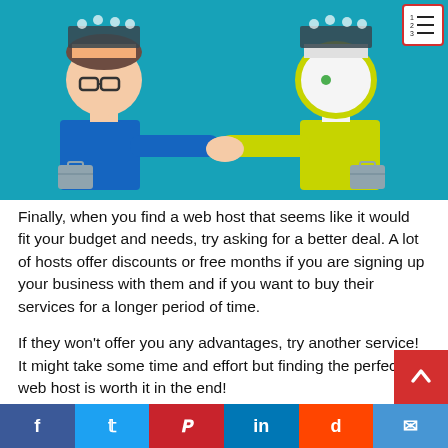[Figure (illustration): Two cartoon businessmen with open heads shaking hands — one in a blue suit with mechanical/film gear in his head, the other in a yellow outfit with similar gear, against a teal background. Both carry briefcases.]
Finally, when you find a web host that seems like it would fit your budget and needs, try asking for a better deal. A lot of hosts offer discounts or free months if you are signing up your business with them and if you want to buy their services for a longer period of time.
If they won't offer you any advantages, try another service! It might take some time and effort but finding the perfect web host is worth it in the end!
f  t  P  in  d  ✉